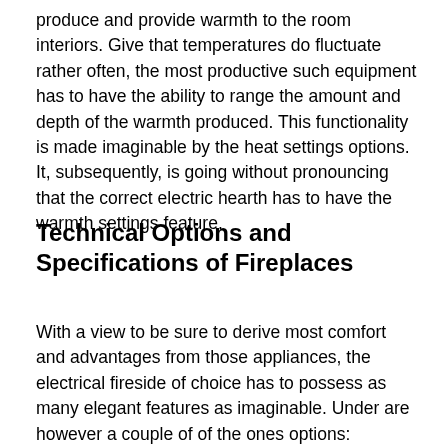produce and provide warmth to the room interiors. Give that temperatures do fluctuate rather often, the most productive such equipment has to have the ability to range the amount and depth of the warmth produced. This functionality is made imaginable by the heat settings options. It, subsequently, is going without pronouncing that the correct electric hearth has to have the warmth settings feature.
Technical Options and Specifications of Fireplaces
With a view to be sure to derive most comfort and advantages from those appliances, the electrical fireside of choice has to possess as many elegant features as imaginable. Under are however a couple of of the ones options: